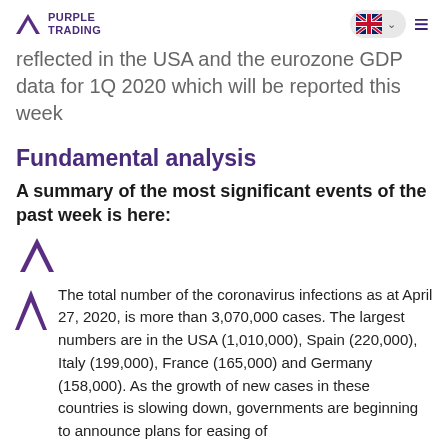PURPLE TRADING
reflected in the USA and the eurozone GDP data for 1Q 2020 which will be reported this week
Fundamental analysis
A summary of the most significant events of the past week is here:
The total number of the coronavirus infections as at April 27, 2020, is more than 3,070,000 cases. The largest numbers are in the USA (1,010,000), Spain (220,000), Italy (199,000), France (165,000) and Germany (158,000). As the growth of new cases in these countries is slowing down, governments are beginning to announce plans for easing of